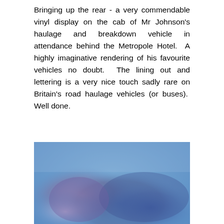Bringing up the rear - a very commendable vinyl display on the cab of Mr Johnson's haulage and breakdown vehicle in attendance behind the Metropole Hotel. A highly imaginative rendering of his favourite vehicles no doubt. The lining out and lettering is a very nice touch sadly rare on Britain's road haulage vehicles (or buses). Well done.
[Figure (photo): A blurred/out-of-focus photograph showing a blue sky background with indistinct shapes, likely showing the vinyl display on a vehicle cab mentioned in the text above.]